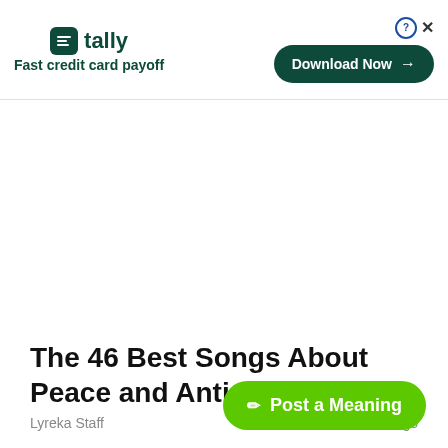[Figure (other): Tally app advertisement banner with logo, tagline 'Fast credit card payoff', and 'Download Now' button]
The 46 Best Songs About Peace and Anti-War
Lyreka Staff   4 months ago
[Figure (other): Green 'Post a Meaning' button with pencil icon]